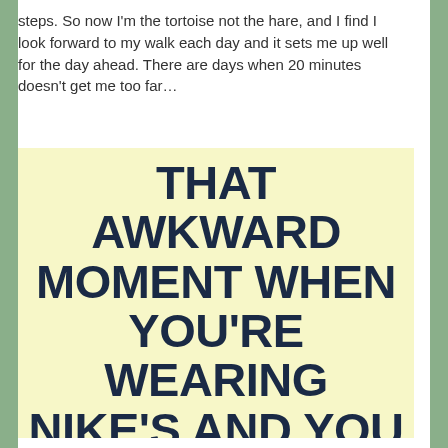steps. So now I'm the tortoise not the hare, and I find I look forward to my walk each day and it sets me up well for the day ahead. There are days when 20 minutes doesn't get me too far…
[Figure (illustration): Yellow background meme image with large bold dark navy text reading: THAT AWKWARD MOMENT WHEN YOU'RE WEARING NIKE'S AND YOU CAN'T DO IT]